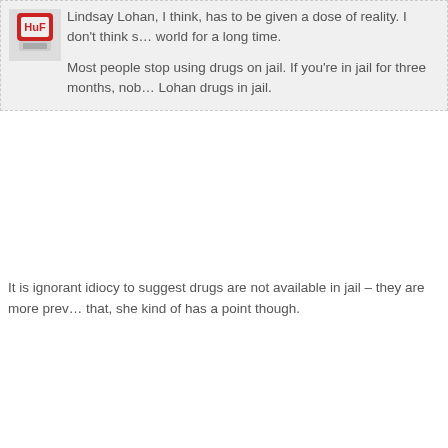Lindsay Lohan, I think, has to be given a dose of reality. I don't think she has been in the real world for a long time. Most people stop using drugs on jail. If you're in jail for three months, nobody is going to give Lohan drugs in jail.
It is ignorant idiocy to suggest drugs are not available in jail – they are more prevalent in jail. That said, she kind of has a point though.